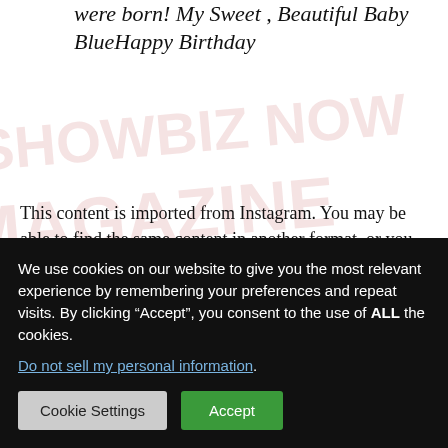everything With Blue Entitled me the day you were born! My Sweet , Beautiful Baby BlueHappy Birthday
This content is imported from Instagram. You may be able to find the same content in another format, or you may be able to find more information, at their web site.
Blue last was seen modeling alongside her little sister, 4-year-old Rumi, and mom Beyoncé in Bey's Ivy Park
We use cookies on our website to give you the most relevant experience by remembering your preferences and repeat visits. By clicking “Accept”, you consent to the use of ALL the cookies.
Do not sell my personal information.
Cookie Settings | Accept